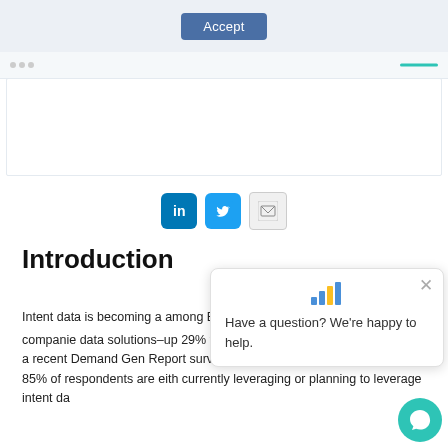[Figure (screenshot): Top navigation bar with Accept button]
[Figure (screenshot): Progress bar with dots and teal line indicator]
[Figure (screenshot): White content box area]
[Figure (screenshot): Social sharing icons: LinkedIn, Twitter, Email]
Introduction
Intent data is becoming a among B2B organization survey, 62% of companie data solutions–up 29% from 2019 and 121% from 2018. And a recent Demand Gen Report survey confirms the findings, reporting that 85% of respondents are either currently leveraging or planning to leverage intent da
[Figure (screenshot): Chat popup overlay: bar chart icon, close button, text 'Have a question? We're happy to help.' with teal chat bubble]